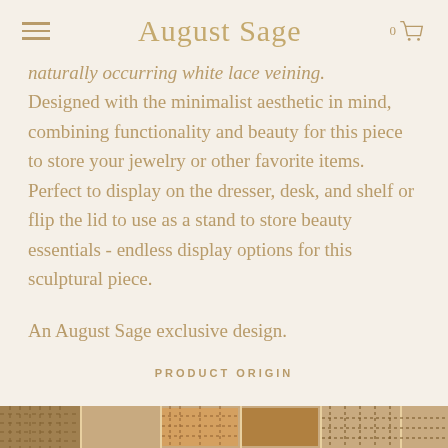August Sage
naturally occurring white lace veining. Designed with the minimalist aesthetic in mind, combining functionality and beauty for this piece to store your jewelry or other favorite items. Perfect to display on the dresser, desk, and shelf or flip the lid to use as a stand to store beauty essentials - endless display options for this sculptural piece.
An August Sage exclusive design.
PRODUCT ORIGIN
[Figure (photo): Bottom strip showing product images, partially visible]